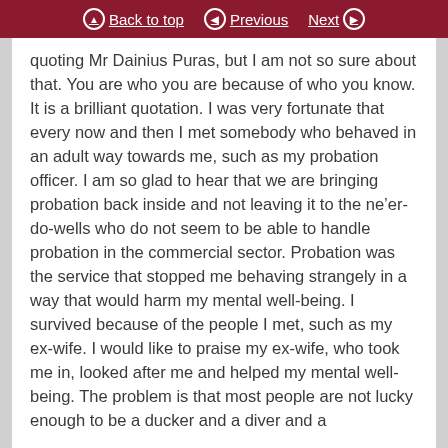Back to top | Previous | Next
quoting Mr Dainius Puras, but I am not so sure about that. You are who you are because of who you know. It is a brilliant quotation. I was very fortunate that every now and then I met somebody who behaved in an adult way towards me, such as my probation officer. I am so glad to hear that we are bringing probation back inside and not leaving it to the ne’er-do-wells who do not seem to be able to handle probation in the commercial sector. Probation was the service that stopped me behaving strangely in a way that would harm my mental well-being. I survived because of the people I met, such as my ex-wife. I would like to praise my ex-wife, who took me in, looked after me and helped my mental well-being. The problem is that most people are not lucky enough to be a ducker and a diver and a